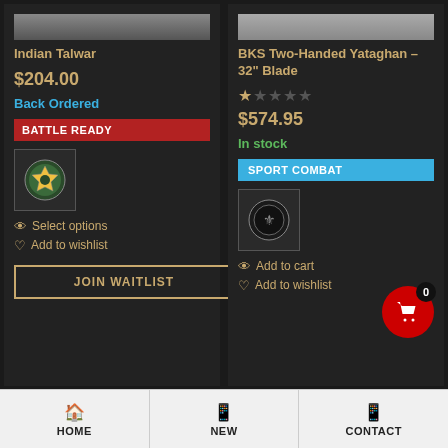[Figure (screenshot): Product card image top strip for Indian Talwar]
Indian Talwar
$204.00
Back Ordered
BATTLE READY
[Figure (logo): Brand logo in bordered box - shield with eagle emblem]
Select options
Add to wishlist
JOIN WAITLIST
[Figure (screenshot): Product card image top strip for BKS Two-Handed Yataghan]
BKS Two-Handed Yataghan – 32" Blade
$574.95
In stock
SPORT COMBAT
[Figure (logo): Brand logo in bordered box - circular emblem]
Add to cart
Add to wishlist
HOME  NEW  CONTACT